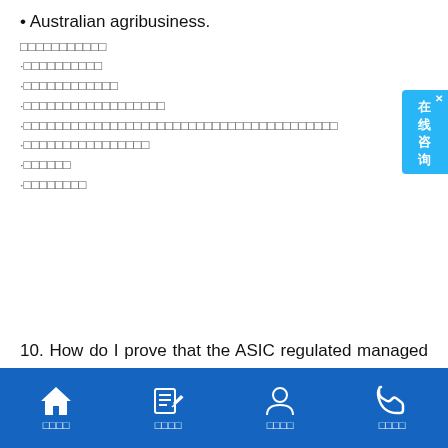• Australian agribusiness.
□□□□□□□□□□□
·□□□□□□□□□□
·□□□□□□□□□□□□
·□□□□□□□□□□□□□□□□□□
·□□□□□□□□□□□□□□□□□□□□□□□□□□□□□□□□□□□□□□
·□□□□□□□□□□□□□□□□
·□□□□□□
·□□□□□□□□
10. How do I prove that the ASIC regulated managed funds I invest in meet the visa requirement to be classified as a complying investment? □□□□□□□□ASIC□□□□□□□□□□□□□□